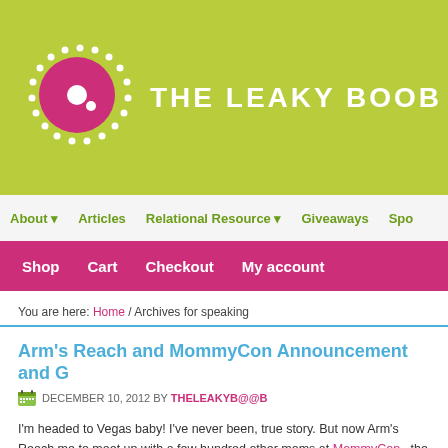[Figure (logo): The Leaky Boob website logo: pink circle with white dot on a yellow-green background with white dotted circle border, beside site title text]
THE LEAKY BOOB
About | Articles | Relational Resource | Giveaways | Spo...
Shop | Cart | Checkout | My account
You are here: Home / Archives for speaking
Arm's Reach and MommyCon Announcement and G...
DECEMBER 10, 2012 BY THELEAKYB@@B
I'm headed to Vegas baby!  I've never been, true story.  But now Arm's Reach me to meet up with a few hundred other moms at MommyCon– the boutique natural parenting methods for everyone; single moms, career moms, stay at h Vegas and hanging out with like-minded internet friends to talk about breastfe babywearing, sleeping, sex, growing up, and all other manner of topics relato...